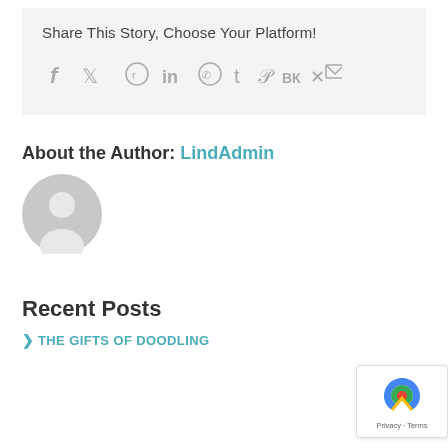Share This Story, Choose Your Platform!
[Figure (infographic): Row of social media sharing icons: Facebook, Twitter, Reddit, LinkedIn, WhatsApp, Tumblr, Pinterest, VK, Xing, Email]
About the Author: LindAdmin
[Figure (illustration): Generic grey user avatar circle with silhouette of a person]
Recent Posts
> THE GIFTS OF DOODLING